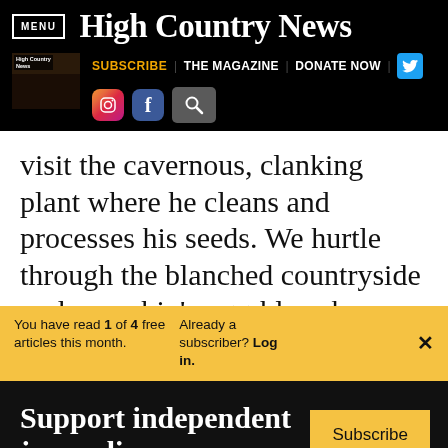MENU | High Country News
SUBSCRIBE | THE MAGAZINE | DONATE NOW
visit the cavernous, clanking plant where he cleans and processes his seeds. We hurtle through the blanched countryside under a robin's-egg-blue sky, following the
You have read 1 of 4 free articles this month. Already a subscriber? Log in.
Support independent journalism. Subscribe